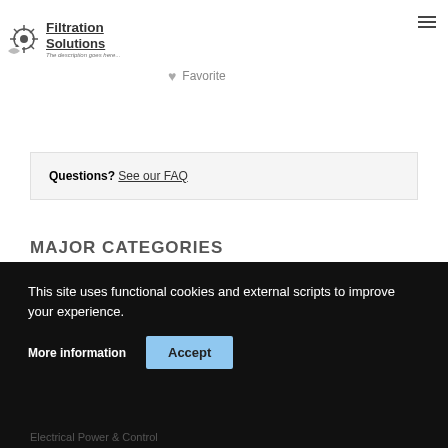Filtration Solutions
Favorite
Questions? See our FAQ
This site uses functional cookies and external scripts to improve your experience.
More information
Accept
Electrical Power & Control